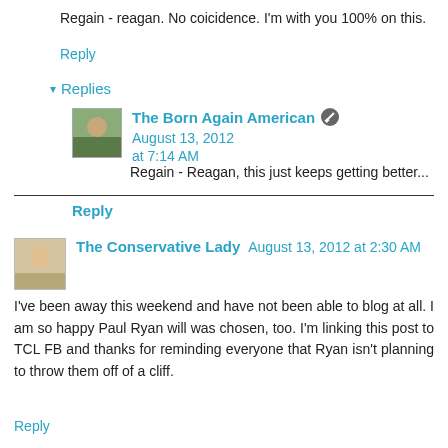Regain - reagan. No coicidence. I'm with you 100% on this.
Reply
Replies
The Born Again American  August 13, 2012 at 7:14 AM
Regain - Reagan, this just keeps getting better...
Reply
The Conservative Lady  August 13, 2012 at 2:30 AM
I've been away this weekend and have not been able to blog at all. I am so happy Paul Ryan will was chosen, too. I'm linking this post to TCL FB and thanks for reminding everyone that Ryan isn't planning to throw them off of a cliff.
Reply